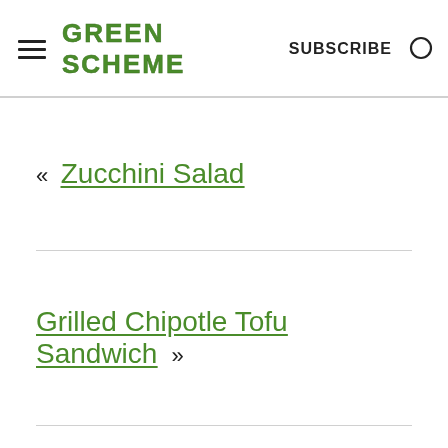GREEN SCHEME  SUBSCRIBE
« Zucchini Salad
Grilled Chipotle Tofu Sandwich »